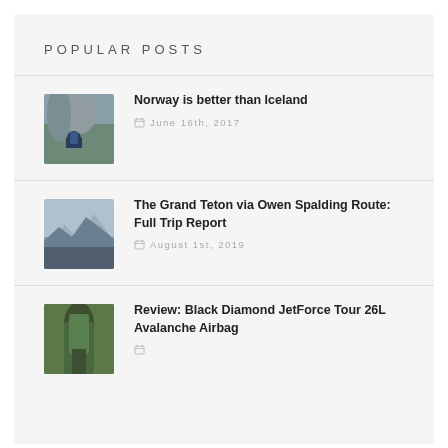POPULAR POSTS
Norway is better than Iceland
June 16th, 2017
The Grand Teton via Owen Spalding Route: Full Trip Report
August 1st, 2019
Review: Black Diamond JetForce Tour 26L Avalanche Airbag